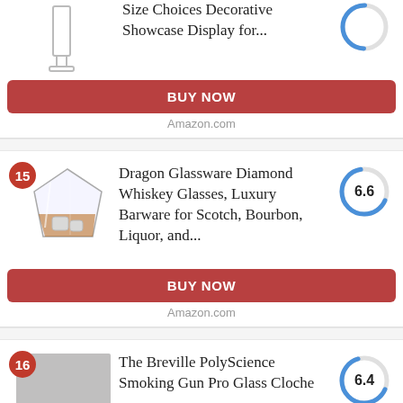Size Choices Decorative Showcase Display for...
BUY NOW
Amazon.com
15
[Figure (photo): Diamond whiskey glass with amber liquid and ice]
Dragon Glassware Diamond Whiskey Glasses, Luxury Barware for Scotch, Bourbon, Liquor, and...
[Figure (donut-chart): Score circle showing 6.6]
BUY NOW
Amazon.com
16
[Figure (photo): Gray placeholder image for Breville PolyScience Smoking Gun Pro Glass Cloche]
The Breville PolyScience Smoking Gun Pro Glass Cloche
[Figure (donut-chart): Score circle showing 6.4]